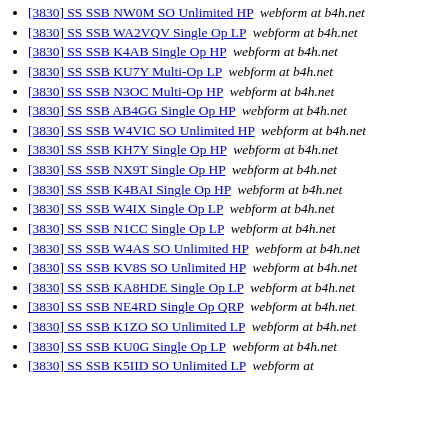[3830] SS SSB NW0M SO Unlimited HP  webform at b4h.net
[3830] SS SSB WA2VQV Single Op LP  webform at b4h.net
[3830] SS SSB K4AB Single Op HP  webform at b4h.net
[3830] SS SSB KU7Y Multi-Op LP  webform at b4h.net
[3830] SS SSB N3OC Multi-Op HP  webform at b4h.net
[3830] SS SSB AB4GG Single Op HP  webform at b4h.net
[3830] SS SSB W4VIC SO Unlimited HP  webform at b4h.net
[3830] SS SSB KH7Y Single Op HP  webform at b4h.net
[3830] SS SSB NX9T Single Op HP  webform at b4h.net
[3830] SS SSB K4BAI Single Op HP  webform at b4h.net
[3830] SS SSB W4IX Single Op LP  webform at b4h.net
[3830] SS SSB N1CC Single Op LP  webform at b4h.net
[3830] SS SSB W4AS SO Unlimited HP  webform at b4h.net
[3830] SS SSB KV8S SO Unlimited HP  webform at b4h.net
[3830] SS SSB KA8HDE Single Op LP  webform at b4h.net
[3830] SS SSB NE4RD Single Op QRP  webform at b4h.net
[3830] SS SSB K1ZO SO Unlimited LP  webform at b4h.net
[3830] SS SSB KU0G Single Op LP  webform at b4h.net
[3830] SS SSB K5IID SO Unlimited LP  webform at b4h.net